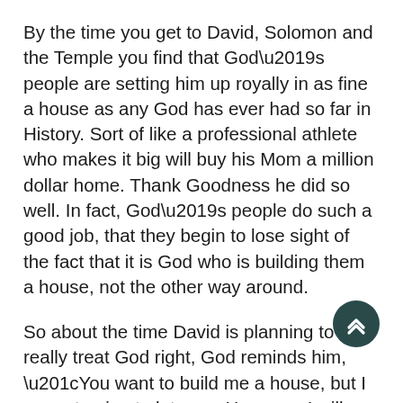By the time you get to David, Solomon and the Temple you find that God's people are setting him up royally in as fine a house as any God has ever had so far in History. Sort of like a professional athlete who makes it big will buy his Mom a million dollar home. Thank Goodness he did so well. In fact, God's people do such a good job, that they begin to lose sight of the fact that it is God who is building them a house, not the other way around.
So about the time David is planning to really treat God right, God reminds him, “You want to build me a house, but I am not going to let you.  However, I will build you a house.” And in these words, among others, we are introduced to the line from whom will come the seed of the woman whom God promised to the Serpent back in the garden. It is one of David’s heirs who will rule forever and who will crush the